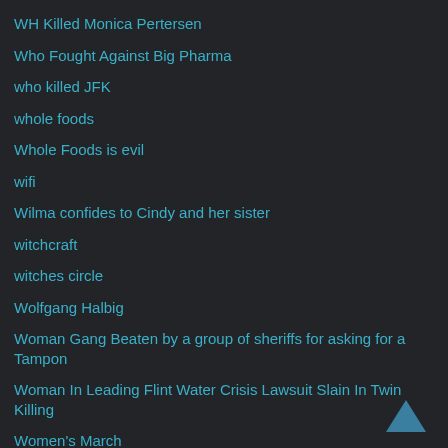WH Killed Monica Pertersen
Who Fought Against Big Pharma
who killed JFK
whole foods
Whole Foods is evil
wifi
Wilma confides to Cindy and her sister
witchcraft
witches circle
Wolfgang Halbig
Woman Gang Beaten by a group of sheriffs for asking for a Tampon
Woman In Leading Flint Water Crisis Lawsuit Slain In Twin Killing
Women's March
Wont Apologize For Keeping America Safe